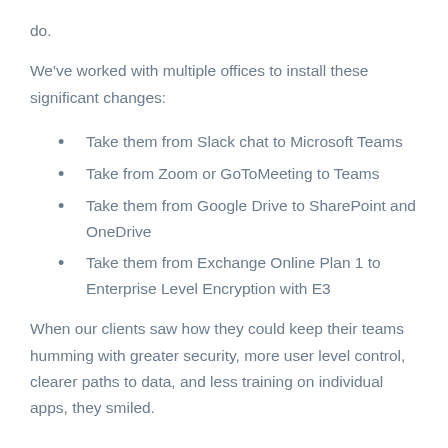do.
We've worked with multiple offices to install these significant changes:
Take them from Slack chat to Microsoft Teams
Take from Zoom or GoToMeeting to Teams
Take them from Google Drive to SharePoint and OneDrive
Take them from Exchange Online Plan 1 to Enterprise Level Encryption with E3
When our clients saw how they could keep their teams humming with greater security, more user level control, clearer paths to data, and less training on individual apps, they smiled.